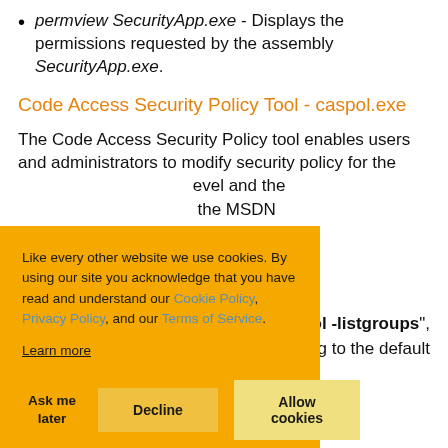permview SecurityApp.exe - Displays the permissions requested by the assembly SecurityApp.exe.
Code Access Security Policy Tool - caspol.exe
The Code Access Security Policy tool enables users and administrators to modify security policy for the [enterprise, machine, and user policy] level and the [complete description available on] the MSDN [documentation].
Like every other website we use cookies. By using our site you acknowledge that you have read and understand our Cookie Policy, Privacy Policy, and our Terms of Service. Learn more
ol -listgroups", g to the default